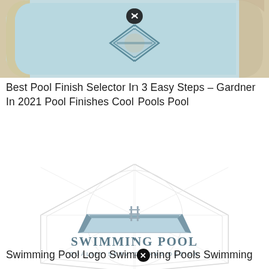[Figure (photo): Aerial/overhead photo of a swimming pool with light blue water, diamond tile mosaic in center, curved edges, and white stone surround]
Best Pool Finish Selector In 3 Easy Steps – Gardner In 2021 Pool Finishes Cool Pools Pool
[Figure (logo): Swimming Pool Quality Service and Design logo — shows a stylized rectangular pool with ladder graphic above the text 'SWIMMING POOL' and 'QUALITY SERVICE AND DESIGN', inside a light hexagon watermark]
Swimming Pool Logo Swimming Pools Swimming